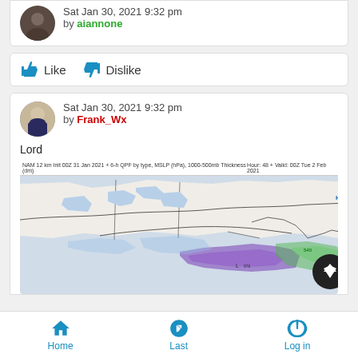Sat Jan 30, 2021 9:32 pm by aiannone (partial, top of page)
Like | Dislike
Sat Jan 30, 2021 9:32 pm by Frank_Wx
Lord
[Figure (map): NAM 12 km weather map showing QPF by type, MSLP, 1000-500mb Thickness. Hour: 48 + Valid: 00Z Tue 2 Feb 2021. Shows precipitation bands over northeastern US with purple and green shading.]
Home | Last | Log in